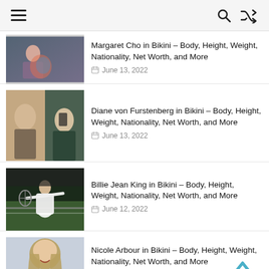Navigation header with hamburger menu, search icon, and shuffle icon
Margaret Cho in Bikini – Body, Height, Weight, Nationality, Net Worth, and More · June 13, 2022
Diane von Furstenberg in Bikini – Body, Height, Weight, Nationality, Net Worth, and More · June 13, 2022
Billie Jean King in Bikini – Body, Height, Weight, Nationality, Net Worth, and More · June 12, 2022
Nicole Arbour in Bikini – Body, Height, Weight, Nationality, Net Worth, and More · June 12, 2022